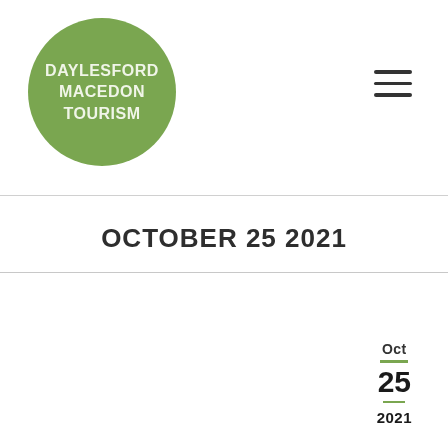[Figure (logo): Daylesford Macedon Tourism circular green logo with white bold text reading DAYLESFORD MACEDON TOURISM]
OCTOBER 25 2021
Oct
25
2021